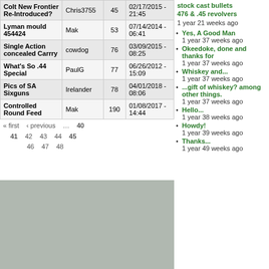| Topic | Author | Replies | Last Post |
| --- | --- | --- | --- |
| Colt New Frontier Re-Introduced? | Chris3755 | 45 | 02/17/2015 - 21:45 |
| Lyman mould 454424 | Mak | 53 | 07/14/2014 - 06:41 |
| Single Action concealed Carrry | cowdog | 76 | 03/09/2015 - 08:25 |
| What's So .44 Special | PaulG | 77 | 06/26/2012 - 15:09 |
| Pics of SA Sixguns | Irelander | 78 | 04/01/2018 - 08:06 |
| Controlled Round Feed | Mak | 190 | 01/08/2017 - 14:44 |
« first ‹ previous … 40 41 42 43 44 45 46 47 48
stock cast bullets 476 & .45 revolvers
1 year 21 weeks ago
Yes, A Good Man
1 year 37 weeks ago
Okeedoke, done and thanks for
1 year 37 weeks ago
Whiskey and...
1 year 37 weeks ago
...gift of whiskey? among other things.
1 year 37 weeks ago
Hello...
1 year 38 weeks ago
Howdy!
1 year 39 weeks ago
Thanks...
1 year 49 weeks ago